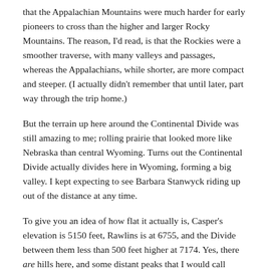that the Appalachian Mountains were much harder for early pioneers to cross than the higher and larger Rocky Mountains. The reason, I'd read, is that the Rockies were a smoother traverse, with many valleys and passages, whereas the Appalachians, while shorter, are more compact and steeper. (I actually didn't remember that until later, part way through the trip home.)
But the terrain up here around the Continental Divide was still amazing to me; rolling prairie that looked more like Nebraska than central Wyoming. Turns out the Continental Divide actually divides here in Wyoming, forming a big valley. I kept expecting to see Barbara Stanwyck riding up out of the distance at any time.
To give you an idea of how flat it actually is, Casper's elevation is 5150 feet, Rawlins is at 6755, and the Divide between them less than 500 feet higher at 7174. Yes, there are hills here, and some distant peaks that I would call mountains, but this wide valley is not what I had expected.